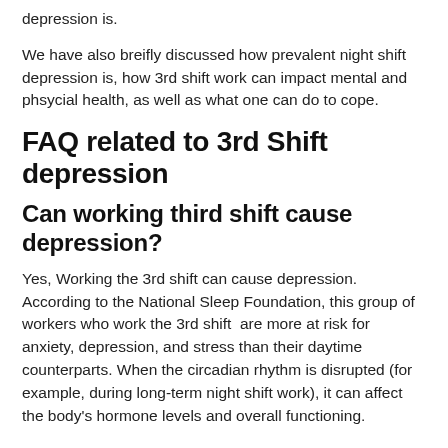depression is.
We have also breifly discussed how prevalent night shift depression is, how 3rd shift work can impact mental and phsycial health, as well as what one can do to cope.
FAQ related to 3rd Shift depression
Can working third shift cause depression?
Yes, Working the 3rd shift can cause depression. According to the National Sleep Foundation, this group of workers who work the 3rd shift  are more at risk for anxiety, depression, and stress than their daytime counterparts. When the circadian rhythm is disrupted (for example, during long-term night shift work), it can affect the body's hormone levels and overall functioning.